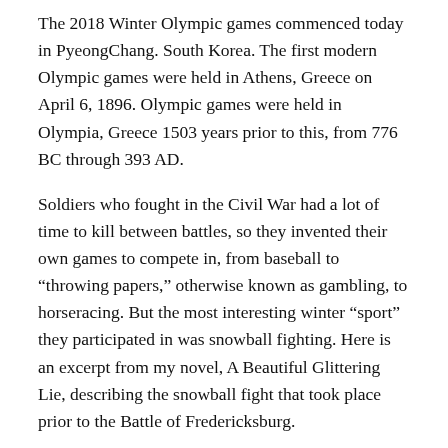The 2018 Winter Olympic games commenced today in PyeongChang. South Korea. The first modern Olympic games were held in Athens, Greece on April 6, 1896. Olympic games were held in Olympia, Greece 1503 years prior to this, from 776 BC through 393 AD.
Soldiers who fought in the Civil War had a lot of time to kill between battles, so they invented their own games to compete in, from baseball to “throwing papers,” otherwise known as gambling, to horseracing. But the most interesting winter “sport” they participated in was snowball fighting. Here is an excerpt from my novel, A Beautiful Glittering Lie, describing the snowball fight that took place prior to the Battle of Fredericksburg.
[Figure (photo): A dark photograph showing a person's face with dark hair, partially visible at the bottom of the page.]